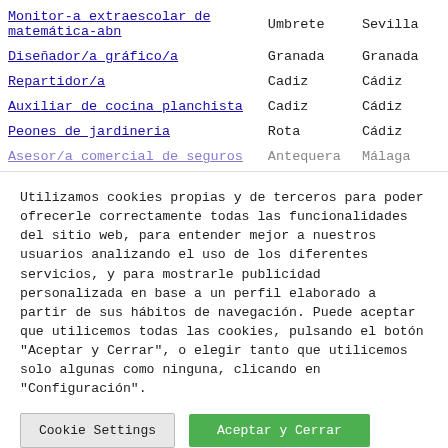| Puesto | Localidad | Provincia |
| --- | --- | --- |
| Monitor-a extraescolar de matemática-abn | Umbrete | Sevilla |
| Diseñador/a gráfico/a | Granada | Granada |
| Repartidor/a | Cadiz | Cádiz |
| Auxiliar de cocina planchista | Cadiz | Cádiz |
| Peones de jardineria | Rota | Cádiz |
| Asesor/a comercial de seguros | Antequera | Málaga |
Utilizamos cookies propias y de terceros para poder ofrecerle correctamente todas las funcionalidades del sitio web, para entender mejor a nuestros usuarios analizando el uso de los diferentes servicios, y para mostrarle publicidad personalizada en base a un perfil elaborado a partir de sus hábitos de navegación. Puede aceptar que utilicemos todas las cookies, pulsando el botón "Aceptar y Cerrar", o elegir tanto que utilicemos solo algunas como ninguna, clicando en "Configuración".
Cookie Settings
Aceptar y Cerrar